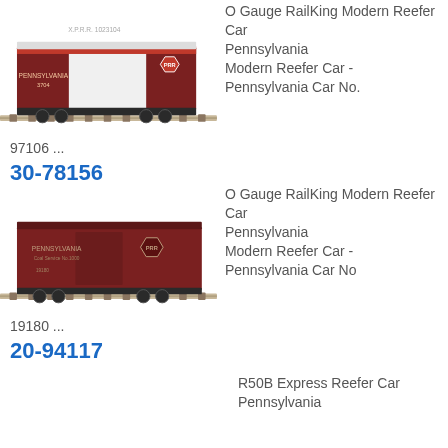[Figure (photo): O Gauge RailKing Pennsylvania Modern Reefer Car, maroon and grey, on track, item 30-78156]
O Gauge RailKing Modern Reefer Car Pennsylvania Modern Reefer Car - Pennsylvania Car No. 97106 ...
30-78156
[Figure (photo): O Gauge RailKing Pennsylvania Modern Reefer Car, all maroon, on track, item 20-94117]
O Gauge RailKing Modern Reefer Car Pennsylvania Modern Reefer Car - Pennsylvania Car No 19180 ...
20-94117
[Figure (photo): R50B Express Reefer Car Pennsylvania - partial image at bottom]
R50B Express Reefer Car Pennsylvania